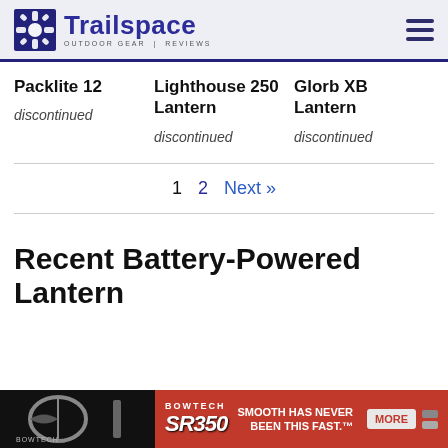Trailspace OUTDOOR GEAR REVIEWS
Packlite 12
discontinued
Lighthouse 250 Lantern
discontinued
Glorb XB Lantern
discontinued
1   2   Next »
Recent Battery-Powered Lantern
[Figure (other): Bowtech SR350 advertisement banner at bottom of page: black bow image on left, red background with SR350 logo, text 'SMOOTH HAS NEVER BEEN THIS FAST.' and MORE button]